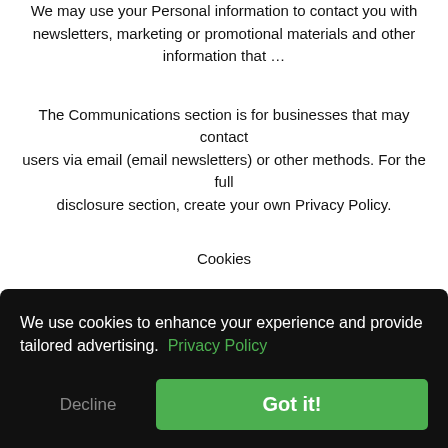We may use your Personal information to contact you with newsletters, marketing or promotional materials and other information that ...
The Communications section is for businesses that may contact users via email (email newsletters) or other methods. For the full disclosure section, create your own Privacy Policy.
Cookies
Cookies are files with small amount of data, which may include an anonymous unique identifier. Cookies are sent to your browser from...
We use cookies to enhance your experience and provide tailored advertising. Privacy Policy
Decline
Got it!